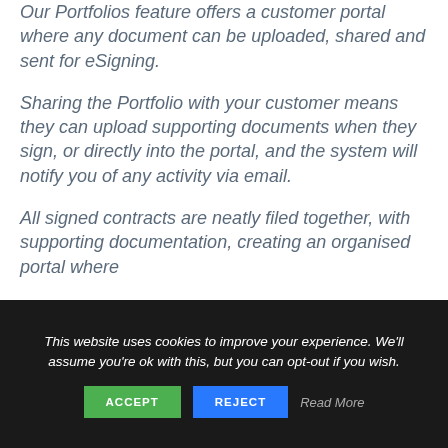Our Portfolios feature offers a customer portal where any document can be uploaded, shared and sent for eSigning.
Sharing the Portfolio with your customer means they can upload supporting documents when they sign, or directly into the portal, and the system will notify you of any activity via email.
All signed contracts are neatly filed together, with supporting documentation, creating an organised portal where
This website uses cookies to improve your experience. We'll assume you're ok with this, but you can opt-out if you wish.